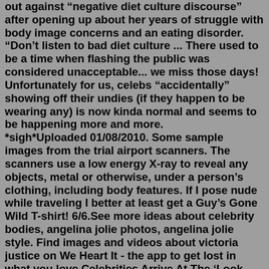out against "negative diet culture discourse" after opening up about her years of struggle with body image concerns and an eating disorder. "Don't listen to bad diet culture ... There used to be a time when flashing the public was considered unacceptable... we miss those days! Unfortunately for us, celebs "accidentally" showing off their undies (if they happen to be wearing any) is now kinda normal and seems to be happening more and more. *sigh*Uploaded 01/08/2010. Some sample images from the trial airport scanners. The scanners use a low energy X-ray to reveal any objects, metal or otherwise, under a person's clothing, including body features. If I pose nude while traveling I better at least get a Guy's Gone Wild T-shirt! 6/6.See more ideas about celebrity bodies, angelina jolie photos, angelina jolie style. Find images and videos about victoria justice on We Heart It - the app to get lost in what you love.Celebrities Arrive At The 'Look Mom I Can Fly' Premiere. We are a global content agency. 150000+ New images daily. 500+ Sets of image and